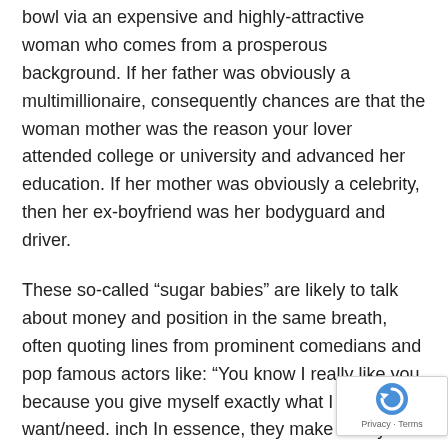bowl via an expensive and highly-attractive woman who comes from a prosperous background. If her father was obviously a multimillionaire, consequently chances are that the woman mother was the reason your lover attended college or university and advanced her education. If her mother was obviously a celebrity, then her ex-boyfriend was her bodyguard and driver.
These so-called “sugar babies” are likely to talk about money and position in the same breath, often quoting lines from prominent comedians and pop famous actors like: “You know I really like you because you give myself exactly what I just want/need. inch In essence, they make if they are eligible for another person’s love, while they ignore the basic needs of their own individuals. This is something that a real sugardaddy would never state or enhance, even their particular wife were cheating on them.
[Figure (other): reCAPTCHA badge with blue circular arrow icon and 'Privacy - Terms' text]